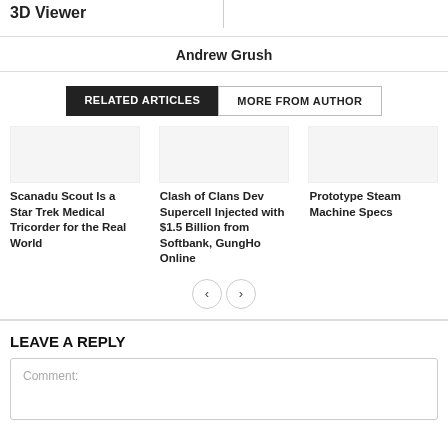3D Viewer
Andrew Grush
RELATED ARTICLES
MORE FROM AUTHOR
Scanadu Scout Is a Star Trek Medical Tricorder for the Real World
Clash of Clans Dev Supercell Injected with $1.5 Billion from Softbank, GungHo Online
Prototype Steam Machine Specs
LEAVE A REPLY
Comment: